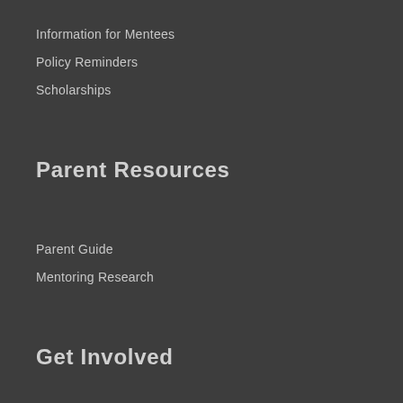Information for Mentees
Policy Reminders
Scholarships
Parent Resources
Parent Guide
Mentoring Research
Get Involved
Support Lincoln TeamMates
Partner Organizations
Volunteer